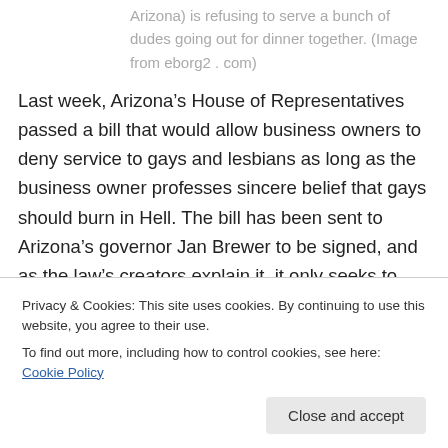Arizona) is refusing to serve a bunch of dudes going out for dinner together. (Image from eborg2 . com)
Last week, Arizona’s House of Representatives passed a bill that would allow business owners to deny service to gays and lesbians as long as the business owner professes sincere belief that gays should burn in Hell. The bill has been sent to Arizona’s governor Jan Brewer to be signed, and as the law’s creators explain it, it only seeks to protects business owners’ freedom to live according to
Privacy & Cookies: This site uses cookies. By continuing to use this website, you agree to their use.
To find out more, including how to control cookies, see here: Cookie Policy